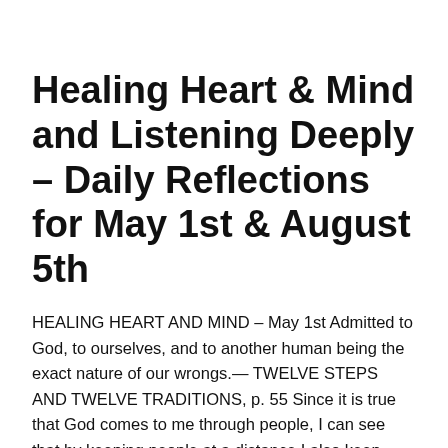Healing Heart & Mind and Listening Deeply – Daily Reflections for May 1st & August 5th
HEALING HEART AND MIND – May 1st Admitted to God, to ourselves, and to another human being the exact nature of our wrongs.— TWELVE STEPS AND TWELVE TRADITIONS, p. 55 Since it is true that God comes to me through people, I can see that by keeping people at a distance I also keep God